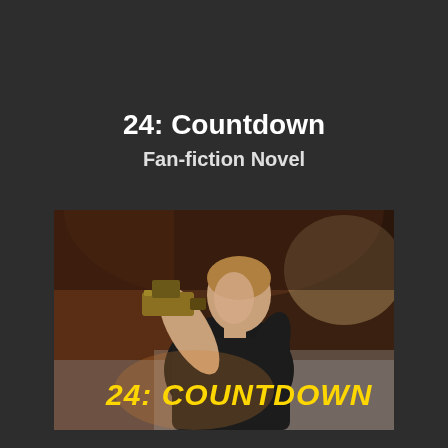24: Countdown
Fan-fiction Novel
[Figure (photo): A man in a dark t-shirt holding a gun raised near his face, standing in a tunnel or curved brick environment with warm lighting. Yellow bold text overlay reads '24: COUNTDOWN'.]